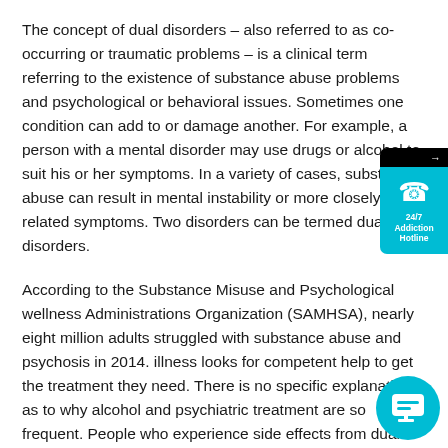The concept of dual disorders – also referred to as co-occurring or traumatic problems – is a clinical term referring to the existence of substance abuse problems and psychological or behavioral issues. Sometimes one condition can add to or damage another. For example, a person with a mental disorder may use drugs or alcohol to suit his or her symptoms. In a variety of cases, substance abuse can result in mental instability or more closely related symptoms. Two disorders can be termed dual disorders.
[Figure (other): A phone widget on the right side showing a 24/7 Addiction Hotline button with a phone icon on a cyan/teal background with a black top bar showing an arrow.]
According to the Substance Misuse and Psychological wellness Administrations Organization (SAMHSA), nearly eight million adults struggled with substance abuse and psychosis in 2014. illness looks for competent help to get the treatment they need. There is no specific explanation as to why alcohol and psychiatric treatment are so frequent. People who experience side effects from dual diagnosis and mental disorders often show more tolerant, more serious and more vulnerable indications for comparable treatment and people who experience aftereffects of just one problem.
[Figure (other): A teal/cyan circular chat bubble icon in the bottom-right corner of the page.]